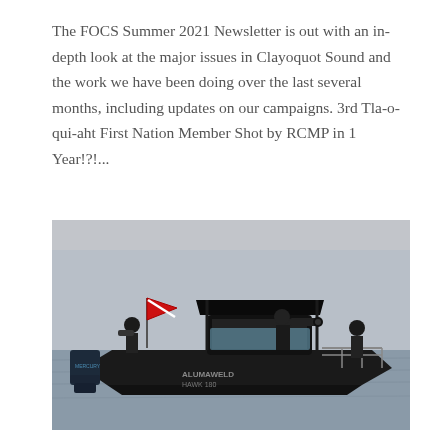The FOCS Summer 2021 Newsletter is out with an in-depth look at the major issues in Clayoquot Sound and the work we have been doing over the last several months, including updates on our campaigns. 3rd Tla-o-qui-aht First Nation Member Shot by RCMP in 1 Year!?!...
[Figure (photo): A dark aluminum motorboat on calm water with three people aboard, two appearing to photograph or film. A red dive flag is visible on a pole at the bow. The boat has a black canopy structure. The hull reads 'ALUMAWELD' and 'HAWK 180'.]